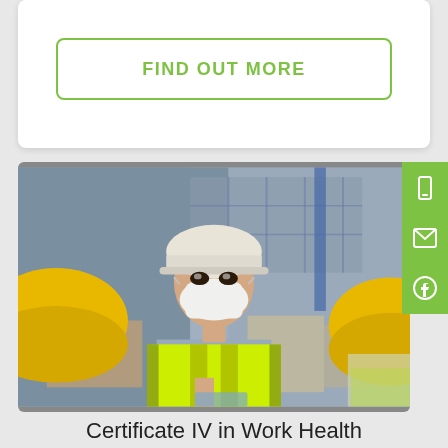FIND OUT MORE
[Figure (photo): A warehouse worker wearing a white hard hat, face mask, and yellow high-visibility vest stands in a warehouse or industrial facility. Two other workers wearing yellow hard hats are partially visible in the foreground.]
Certificate IV in Work Health